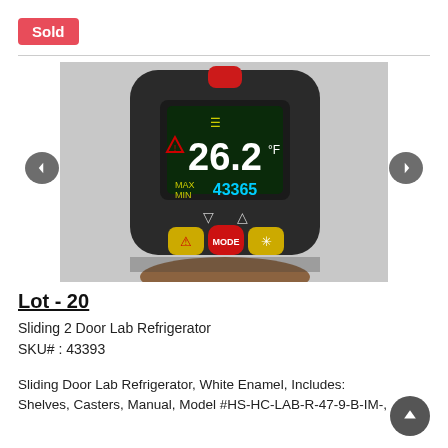Sold
[Figure (photo): Infrared thermometer gun held in hand, displaying 26.2°F on LCD screen with MAX/MIN readings and MODE, laser, and backlight buttons. Dark gray body with red trigger button on top.]
Lot - 20
Sliding 2 Door Lab Refrigerator
SKU# : 43393
Sliding Door Lab Refrigerator, White Enamel, Includes: Shelves, Casters, Manual, Model #HS-HC-LAB-R-47-9-B-IM-,